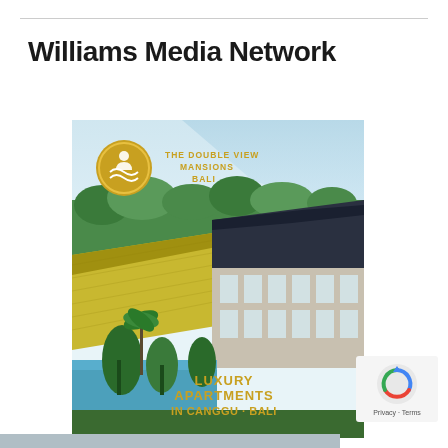Williams Media Network
[Figure (photo): Promotional card for The Double View Mansions Bali showing luxury apartments in Canggu - Bali. Features a circular gold logo with waves and person icon, aerial/scenic photo of a modern villa with dark roof beside lush green rice fields, palm trees and pool, with blue ocean in background. Gold text overlay reads LUXURY APARTMENTS IN CANGGU - BALI.]
[Figure (logo): Google reCAPTCHA widget with Privacy and Terms links]